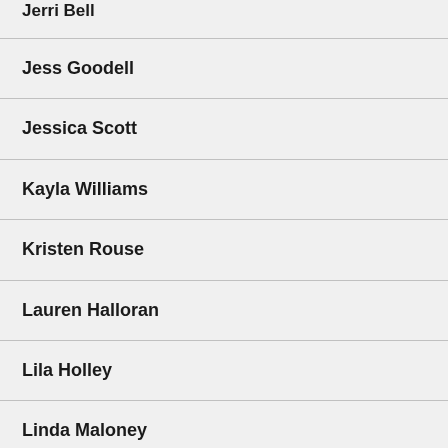Jerri Bell
Jess Goodell
Jessica Scott
Kayla Williams
Kristen Rouse
Lauren Halloran
Lila Holley
Linda Maloney
Mariette Kalinowski
Mary Jennings Hegar